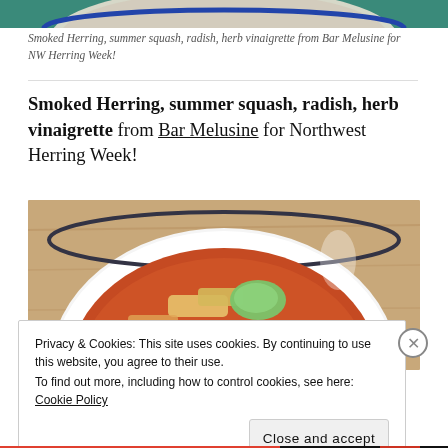[Figure (photo): Partial top of a food photo – teal/blue bowl visible at top of page]
Smoked Herring, summer squash, radish, herb vinaigrette from Bar Melusine for NW Herring Week!
Smoked Herring, summer squash, radish, herb vinaigrette from Bar Melusine for Northwest Herring Week!
[Figure (photo): A white bowl with dark blue rim containing a reddish-orange broth with chunks of fish, summer squash, and other vegetables, on a wooden surface.]
Privacy & Cookies: This site uses cookies. By continuing to use this website, you agree to their use.
To find out more, including how to control cookies, see here: Cookie Policy
Close and accept